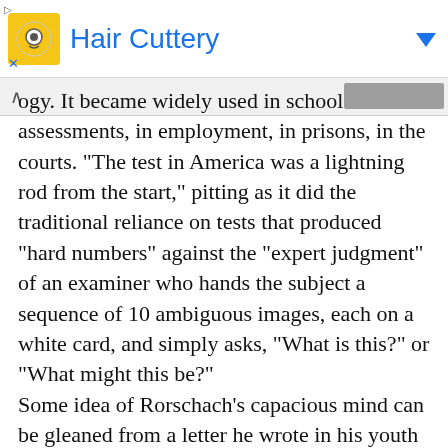[Figure (other): Advertisement banner for Hair Cuttery with yellow circular logo icon and blue title text, with a blue dropdown arrow on the right]
ogy. It became widely used in school assessments, in employment, in prisons, in the courts. “The test in America was a lightning rod from the start,” pitting as it did the traditional reliance on tests that produced “hard numbers” against the “expert judgment” of an examiner who hands the subject a sequence of 10 ambiguous images, each on a white card, and simply asks, “What is this?” or “What might this be?”
Some idea of Rorschach’s capacious mind can be gleaned from a letter he wrote in his youth to Tolstoy. His dream, he wrote to the intellectual giant,
was to have “The ability to see and shape the world like the Mediterranean peoples; to think the world, like the Germans; and to feel the world, like the Slavs.” He dared to